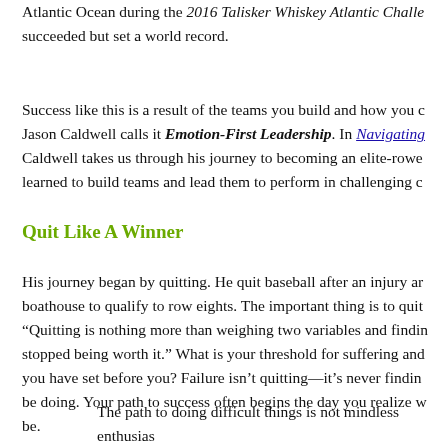Atlantic Ocean during the 2016 Talisker Whiskey Atlantic Challe... succeeded but set a world record.
Success like this is a result of the teams you build and how you c... Jason Caldwell calls it Emotion-First Leadership. In Navigating... Caldwell takes us through his journey to becoming an elite-rowe... learned to build teams and lead them to perform in challenging c...
Quit Like A Winner
His journey began by quitting. He quit baseball after an injury ar... boathouse to qualify to row eights. The important thing is to quit... "Quitting is nothing more than weighing two variables and findin... stopped being worth it." What is your threshold for suffering and... you have set before you? Failure isn't quitting—it's never findin... be doing. Your path to success often begins the day you realize w... be.
The path to doing difficult things is not mindless enthusias... about yourself. Learning about yourself is the only way to...